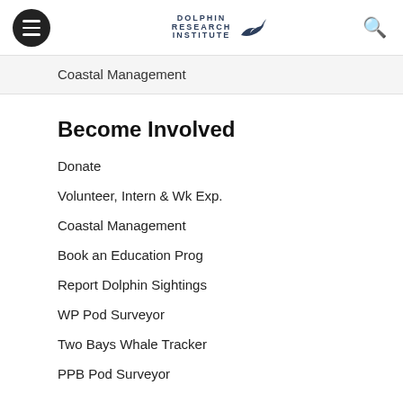Dolphin Research Institute
Coastal Management
Become Involved
Donate
Volunteer, Intern & Wk Exp.
Coastal Management
Book an Education Prog
Report Dolphin Sightings
WP Pod Surveyor
Two Bays Whale Tracker
PPB Pod Surveyor